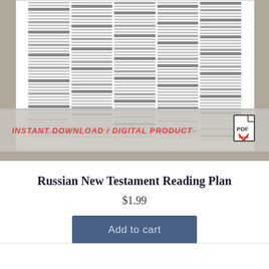[Figure (screenshot): Product thumbnail showing a Russian New Testament Reading Plan PDF with a table of reading assignments, overlaid with a banner reading 'INSTANT DOWNLOAD / DIGITAL PRODUCT' and a PDF icon]
Russian New Testament Reading Plan
$1.99
Add to cart